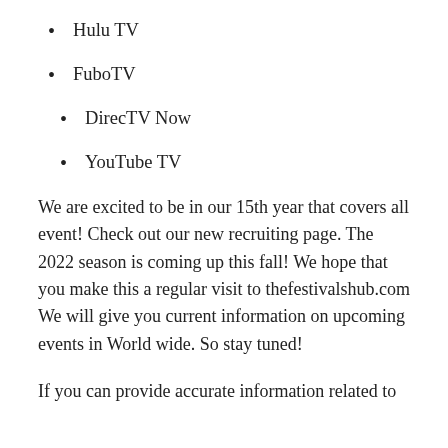Hulu TV
FuboTV
DirecTV Now
YouTube TV
We are excited to be in our 15th year that covers all event! Check out our new recruiting page. The 2022 season is coming up this fall! We hope that you make this a regular visit to thefestivalshub.com We will give you current information on upcoming events in World wide. So stay tuned!
If you can provide accurate information related to